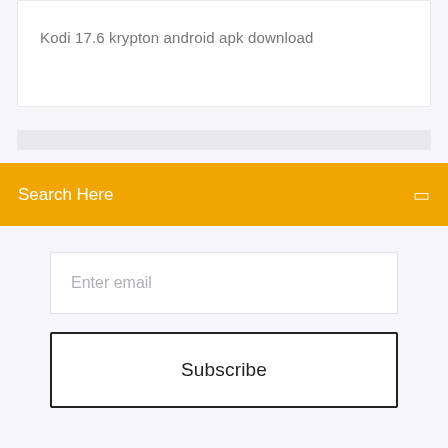Kodi 17.6 krypton android apk download
Search Here
Enter email
Subscribe